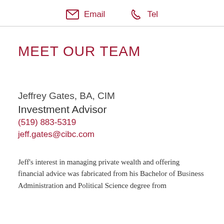Email   Tel
MEET OUR TEAM
Jeffrey Gates, BA, CIM
Investment Advisor
(519) 883-5319
jeff.gates@cibc.com
Jeff's interest in managing private wealth and offering financial advice was fabricated from his Bachelor of Business Administration and Political Science degree from...